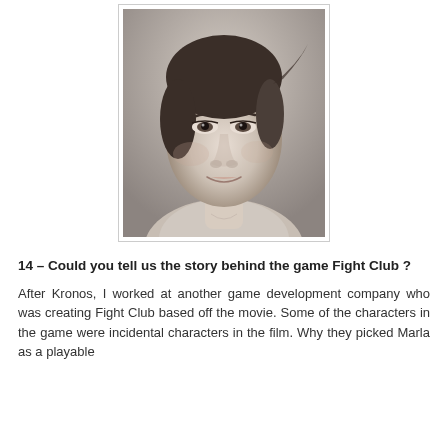[Figure (photo): Black and white close-up portrait photograph of a young woman with dark hair pulled back, looking directly at the camera with a slight smile.]
14 – Could you tell us the story behind the game Fight Club ?
After Kronos, I worked at another game development company who was creating Fight Club based off the movie. Some of the characters in the game were incidental characters in the film. Why they picked Marla as a playable